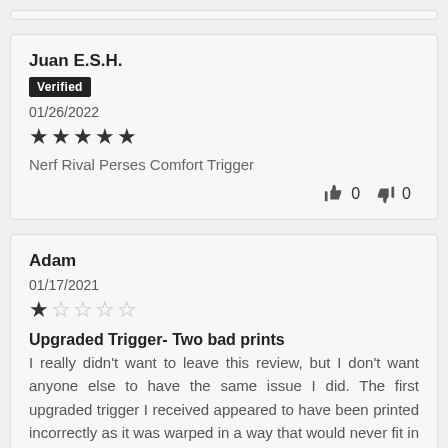Juan E.S.H.
Verified
01/26/2022
★★★★★
Nerf Rival Perses Comfort Trigger
👍 0 👎 0
Adam
01/17/2021
★☆☆☆☆
Upgraded Trigger- Two bad prints
I really didn't want to leave this review, but I don't want anyone else to have the same issue I did. The first upgraded trigger I received appeared to have been printed incorrectly as it was warped in a way that would never fit in the